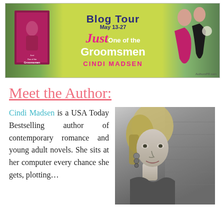[Figure (illustration): Blog Tour banner for 'Just One of the Groomsmen' by Cindi Madsen, May 13-27. Features book cover on left, title text in center on lime green background, and couple photo on right. AuthorsPR.com credited.]
Meet the Author:
Cindi Madsen is a USA Today Bestselling author of contemporary romance and young adult novels. She sits at her computer every chance she gets, plotting…